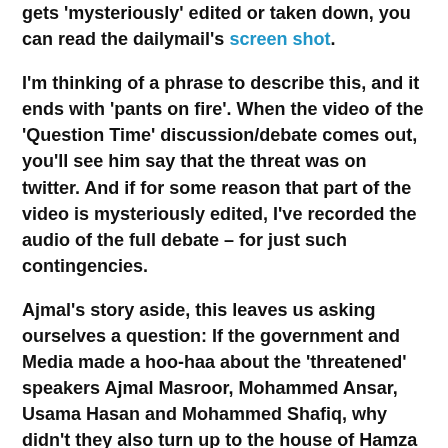gets 'mysteriously' edited or taken down, you can read the dailymail's screen shot.
I'm thinking of a phrase to describe this, and it ends with 'pants on fire'. When the video of the 'Question Time' discussion/debate comes out, you'll see him say that the threat was on twitter. And if for some reason that part of the video is mysteriously edited, I've recorded the audio of the full debate – for just such contingencies.
Ajmal's story aside, this leaves us asking ourselves a question: If the government and Media made a hoo-haa about the 'threatened' speakers Ajmal Masroor, Mohammed Ansar, Usama Hasan and Mohammed Shafiq, why didn't they also turn up to the house of Hamza Tzortzis, who was also featured on the Al Shabaab video, for virtually the same amount of time as Mohammed Ansar (he said it himself)?